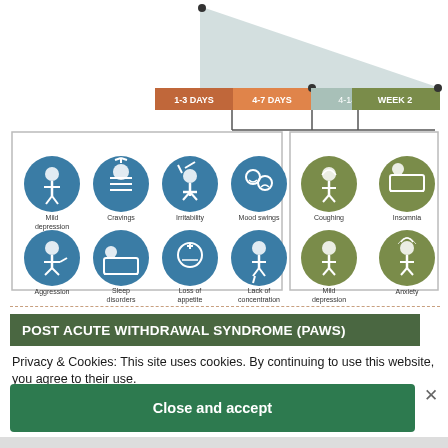[Figure (infographic): Withdrawal timeline showing 1-3 Days, 4-7 Days, 4-14 days, Week 2 with declining triangular shape. Two boxes below containing symptom icons: left box (blue circles) showing Mild depression, Cravings, Irritability, Mood swings, Aggression, Sleep disorders, Loss of appetite, Lack of concentration; right box (olive circles) showing Coughing, Insomnia, Mild depression, Anxiety.]
POST ACUTE WITHDRAWAL SYNDROME (PAWS)
Privacy & Cookies: This site uses cookies. By continuing to use this website, you agree to their use.
To find out more, including how to control cookies, see here:
Cookie Policy
Close and accept